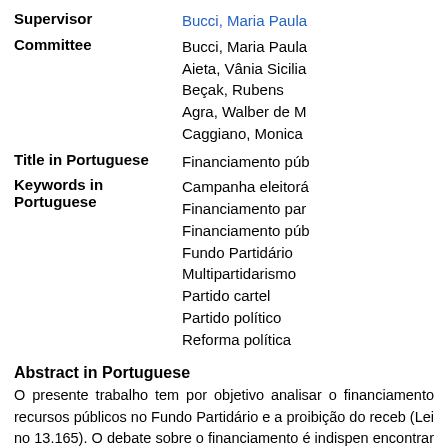| Field | Value |
| --- | --- |
| Supervisor | Bucci, Maria Paula |
| Committee | Bucci, Maria Paula
Aieta, Vânia Sicilia
Beçak, Rubens
Agra, Walber de M
Caggiano, Monica |
| Title in Portuguese | Financiamento púb |
| Keywords in Portuguese | Campanha eleitorá
Financiamento par
Financiamento púb
Fundo Partidário
Multipartidarismo
Partido cartel
Partido político
Reforma política |
Abstract in Portuguese
O presente trabalho tem por objetivo analisar o financiamento recursos públicos no Fundo Partidário e a proibição do receb (Lei no 13.165). O debate sobre o financiamento é indispen encontrar as principais patologias do sistema partidário nacio das legendas. O trabalho parte de duas principais premissas. patologias mencionadas e o modelo de financiamento adota brasileira - ausência de financiamento empresarial e aument catalização e aumento do doe ações realizadas e